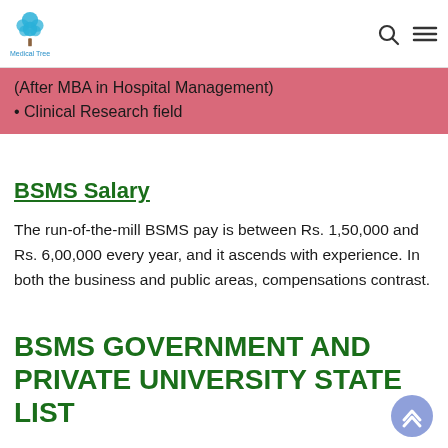Medical Tree
(After MBA in Hospital Management)
• Clinical Research field
BSMS Salary
The run-of-the-mill BSMS pay is between Rs. 1,50,000 and Rs. 6,00,000 every year, and it ascends with experience. In both the business and public areas, compensations contrast.
BSMS GOVERNMENT AND PRIVATE UNIVERSITY STATE LIST